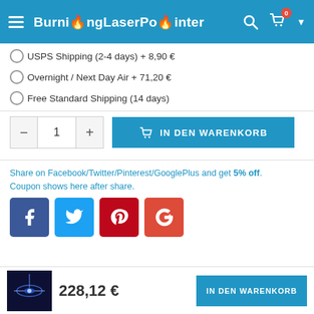BurningLaserPointer
USPS Shipping (2-4 days) + 8,90 €
Overnight / Next Day Air + 71,20 €
Free Standard Shipping (14 days)
IN DEN WARENKORB (quantity: 1)
Share on Facebook/Twitter/Pinterest/GooglePlus and get 5% off. Coupon shows here after share.
[Figure (screenshot): Social share buttons: Facebook (blue), Twitter (light blue), Pinterest (red), Google+ (red-orange)]
228,12 € IN DEN WARENKORB